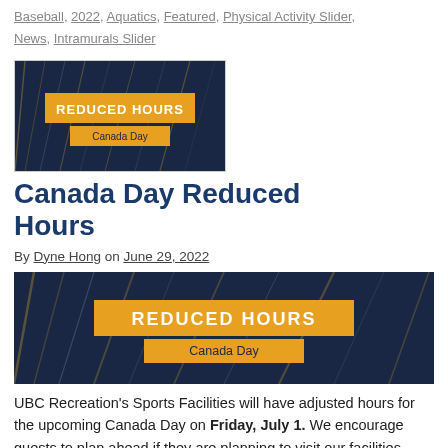Baseball, 2022, Aquatics, Featured, Physical Activity Slider, News, Intramurals Slider
[Figure (illustration): Thumbnail image showing a dark blue background with diagonal light streaks, an orange banner reading REDUCED HOURS in white bold text, and below it a smaller orange banner reading Canada Day]
Canada Day Reduced Hours
By Dyne Hong on June 29, 2022
[Figure (illustration): Hero image showing a dark blue background with diagonal light streaks, an orange banner reading REDUCED HOURS in white bold text, and below it a smaller orange banner reading Canada Day]
UBC Recreation's Sports Facilities will have adjusted hours for the upcoming Canada Day on Friday, July 1. We encourage guests to plan ahead if they are planning to visit our facilities.